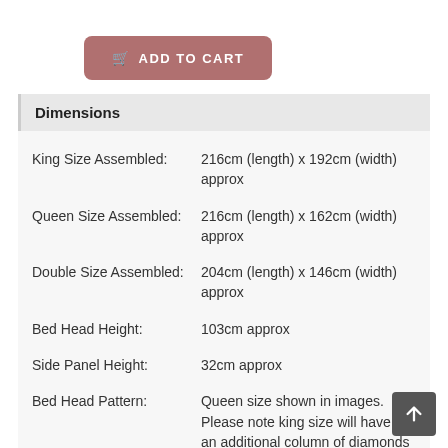ADD TO CART
Dimensions
|  |  |
| --- | --- |
| King Size Assembled: | 216cm (length) x 192cm (width) approx |
| Queen Size Assembled: | 216cm (length) x 162cm (width) approx |
| Double Size Assembled: | 204cm (length) x 146cm (width) approx |
| Bed Head Height: | 103cm approx |
| Side Panel Height: | 32cm approx |
| Bed Head Pattern: | Queen size shown in images. Please note king size will have an additional column of diamonds and |